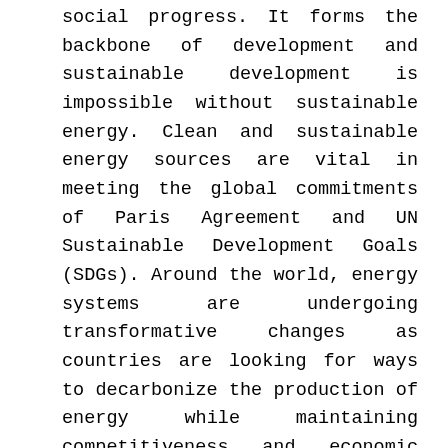social progress. It forms the backbone of development and sustainable development is impossible without sustainable energy. Clean and sustainable energy sources are vital in meeting the global commitments of Paris Agreement and UN Sustainable Development Goals (SDGs). Around the world, energy systems are undergoing transformative changes as countries are looking for ways to decarbonize the production of energy while maintaining competitiveness and economic growth. This transformation requires collective efforts from governments to private sector. However, youth changemakers will also play a pivotal role.
Youth constitute a large majority of today's population. They act as agents of change,